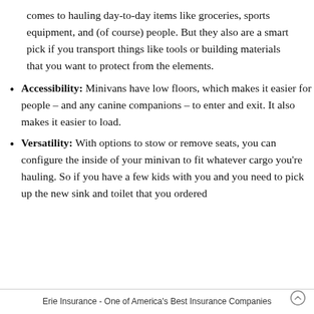comes to hauling day-to-day items like groceries, sports equipment, and (of course) people. But they also are a smart pick if you transport things like tools or building materials that you want to protect from the elements.
Accessibility: Minivans have low floors, which makes it easier for people – and any canine companions – to enter and exit. It also makes it easier to load.
Versatility: With options to stow or remove seats, you can configure the inside of your minivan to fit whatever cargo you're hauling. So if you have a few kids with you and you need to pick up the new sink and toilet that you ordered
Erie Insurance - One of America's Best Insurance Companies